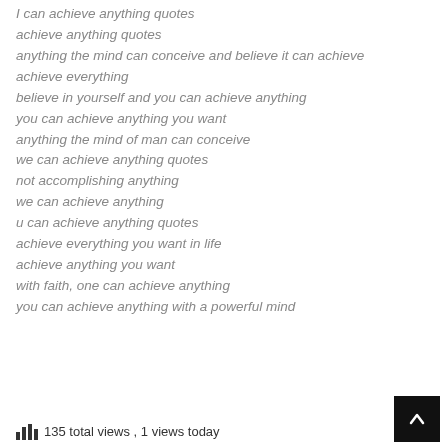I can achieve anything quotes
achieve anything quotes
anything the mind can conceive and believe it can achieve
achieve everything
believe in yourself and you can achieve anything
you can achieve anything you want
anything the mind of man can conceive
we can achieve anything quotes
not accomplishing anything
we can achieve anything
u can achieve anything quotes
achieve everything you want in life
achieve anything you want
with faith, one can achieve anything
you can achieve anything with a powerful mind
135 total views , 1 views today